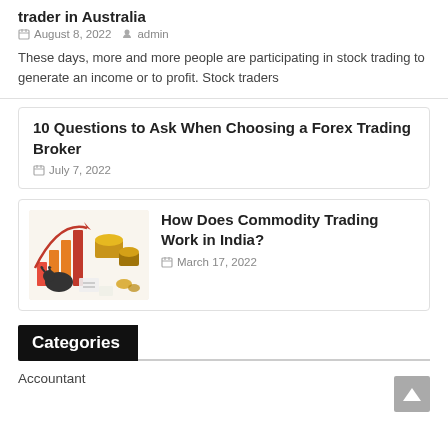trader in Australia
August 8, 2022   admin
These days, more and more people are participating in stock trading to generate an income or to profit. Stock traders
10 Questions to Ask When Choosing a Forex Trading Broker
July 7, 2022
[Figure (illustration): Illustration showing commodity trading items: bar chart with red/orange bars, gold/bronze containers, and a bull figurine with scattered papers and coins]
How Does Commodity Trading Work in India?
March 17, 2022
Categories
Accountant